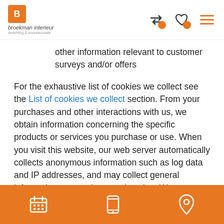[Figure (logo): Broekman Interieur logo with orange B icon]
[Figure (other): Header navigation icons: swap arrows with orange dot, heart with orange dot, hamburger menu]
other information relevant to customer surveys and/or offers
For the exhaustive list of cookies we collect see the List of cookies we collect section. From your purchases and other interactions with us, we obtain information concerning the specific products or services you purchase or use. When you visit this website, our web server automatically collects anonymous information such as log data and IP addresses, and may collect general information concerning your location. We may use the automatically collected information for a number of purposes, such as improving our site design, product
[Figure (other): Orange footer bar with calendar, phone, and location pin icons]